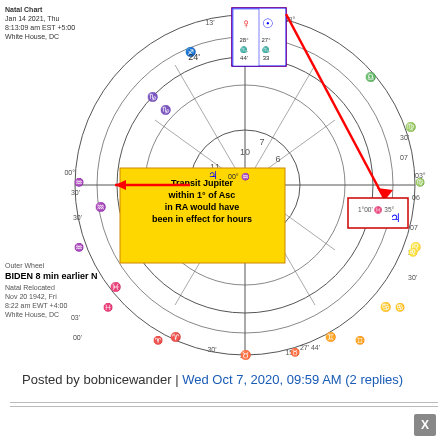[Figure (other): Astrological natal/transit biwheel chart for Biden inauguration Jan 14 2021, showing planetary positions, house cusps, and annotations including a yellow text box 'Transit Jupiter within 1° of Asc in RA would have been in effect for hours', red arrows pointing to Jupiter position, and a blue/red highlighted box at top for Venus/Sun conjunction in Scorpio.]
Inner Chart
Jan 14 2021, Thu
8:13:09 am EST +5:00
White House, DC
Outer Wheel
BIDEN  8 min earlier N
Natal Relocated
Nov 20 1942, Fri
8:22 am  EWT +4:00
White House, DC
Posted by bobnicewander | Wed Oct 7, 2020, 09:59 AM (2 replies)